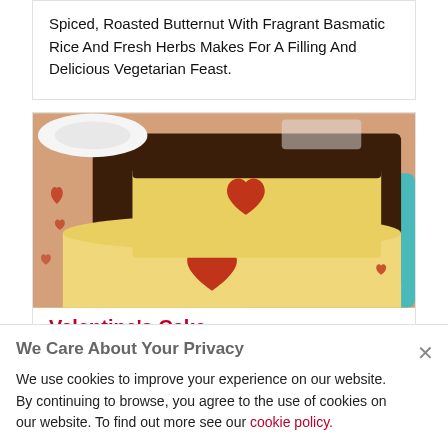Spiced, Roasted Butternut With Fragrant Basmatic Rice And Fresh Herbs Makes For A Filling And Delicious Vegetarian Feast.
[Figure (photo): Sliced cake loaf with heart-shaped red filling inside, covered in chocolate, displayed on a teal/turquoise plate with scattered heart decorations]
Valentine's Cake
We Care About Your Privacy
We use cookies to improve your experience on our website. By continuing to browse, you agree to the use of cookies on our website. To find out more see our cookie policy.